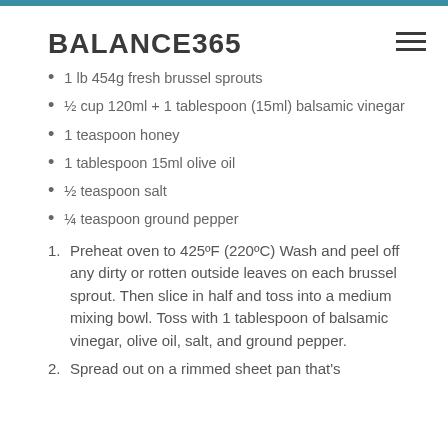BALANCE365
1 lb 454g fresh brussel sprouts
½ cup 120ml + 1 tablespoon (15ml) balsamic vinegar
1 teaspoon honey
1 tablespoon 15ml olive oil
½ teaspoon salt
¼ teaspoon ground pepper
1. Preheat oven to 425ºF (220ºC) Wash and peel off any dirty or rotten outside leaves on each brussel sprout. Then slice in half and toss into a medium mixing bowl. Toss with 1 tablespoon of balsamic vinegar, olive oil, salt, and ground pepper.
2. Spread out on a rimmed sheet pan that's